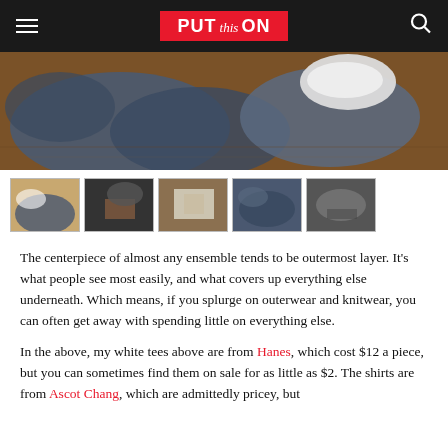PUT this ON
[Figure (photo): Overhead view of clothing items including blue/gray fabric and a white sneaker arranged on a wooden surface]
[Figure (photo): Five thumbnail images showing various clothing arrangements and details]
The centerpiece of almost any ensemble tends to be outermost layer. It's what people see most easily, and what covers up everything else underneath. Which means, if you splurge on outerwear and knitwear, you can often get away with spending little on everything else.
In the above, my white tees above are from Hanes, which cost $12 a piece, but you can sometimes find them on sale for as little as $2. The shirts are from Ascot Chang, which are admittedly pricey, but